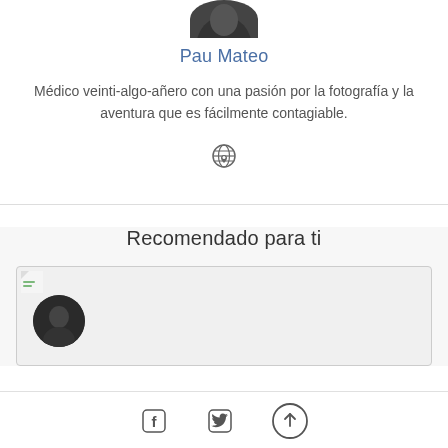[Figure (photo): Partial profile photo of Pau Mateo, cropped at top of page]
Pau Mateo
Médico veinti-algo-añero con una pasión por la fotografía y la aventura que es fácilmente contagiable.
[Figure (illustration): Globe/world icon with heart]
Recomendado para ti
[Figure (screenshot): Card with a small avatar photo, light gray background]
Facebook share icon, Twitter share icon, Upload/share button